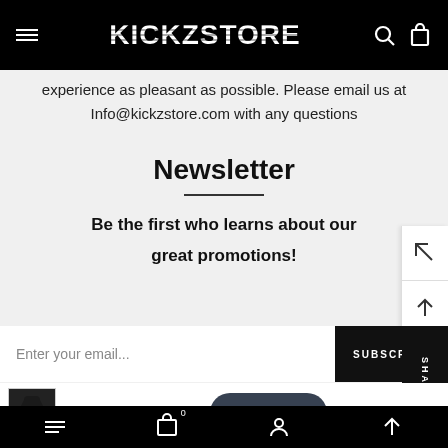KICKZSTORE
experience as pleasant as possible. Please email us at Info@kickzstore.com with any questions
Newsletter
Be the first who learns about our great promotions!
Enter your email...
SUBSCRIBE
NIKE MEN'S SPORTSWEAR FLEECE PULLOVER HOODIE BLA...  $65.00 USD  $55.00 USD
Chat with us